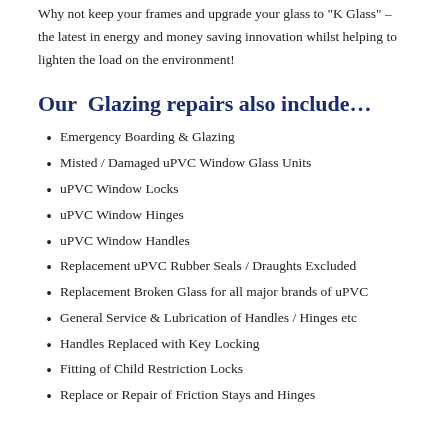Why not keep your frames and upgrade your glass to "K Glass" – the latest in energy and money saving innovation whilst helping to lighten the load on the environment!
Our Glazing repairs also include…
Emergency Boarding & Glazing
Misted / Damaged uPVC Window Glass Units
uPVC Window Locks
uPVC Window Hinges
uPVC Window Handles
Replacement uPVC Rubber Seals / Draughts Excluded
Replacement Broken Glass for all major brands of uPVC
General Service & Lubrication of Handles / Hinges etc
Handles Replaced with Key Locking
Fitting of Child Restriction Locks
Replace or Repair of Friction Stays and Hinges